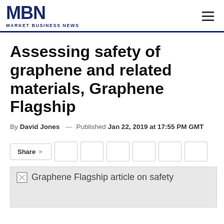MBN MARKET BUSINESS NEWS
Assessing safety of graphene and related materials, Graphene Flagship
By David Jones — Published Jan 22, 2019 at 17:55 PM GMT
[Figure (other): Share button row with social media icon boxes]
[Figure (photo): Graphene Flagship article on safety — image placeholder with broken image icon]